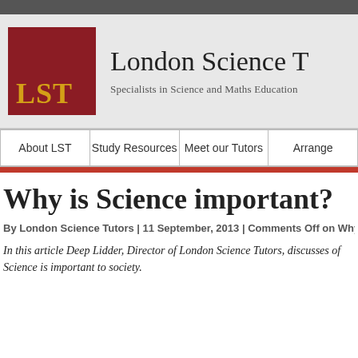[Figure (logo): London Science Tutors logo: dark red square with gold 'LST' text]
London Science T
Specialists in Science and Maths Education
About LST | Study Resources | Meet our Tutors | Arrange
Why is Science important?
By London Science Tutors  |  11 September, 2013  |  Comments Off on Why is
In this article Deep Lidder, Director of London Science Tutors, discusses of Science is important to society.